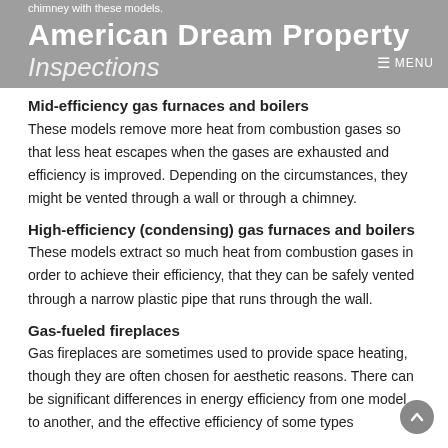chimney with these models.
American Dream Property
Inspections
MENU
Mid-efficiency gas furnaces and boilers
These models remove more heat from combustion gases so that less heat escapes when the gases are exhausted and efficiency is improved. Depending on the circumstances, they might be vented through a wall or through a chimney.
High-efficiency (condensing) gas furnaces and boilers
These models extract so much heat from combustion gases in order to achieve their efficiency, that they can be safely vented through a narrow plastic pipe that runs through the wall.
Gas-fueled fireplaces
Gas fireplaces are sometimes used to provide space heating, though they are often chosen for aesthetic reasons. There can be significant differences in energy efficiency from one model to another, and the effective efficiency of some types